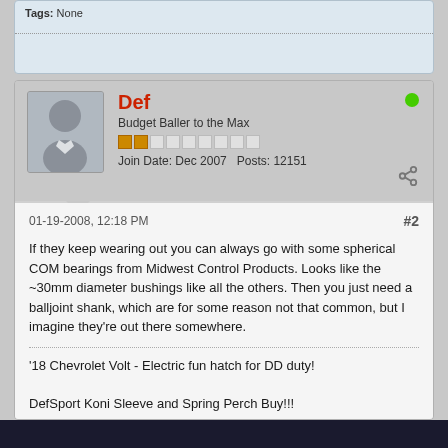Tags: None
Def
Budget Baller to the Max
Join Date: Dec 2007   Posts: 12151
01-19-2008, 12:18 PM
#2
If they keep wearing out you can always go with some spherical COM bearings from Midwest Control Products. Looks like the ~30mm diameter bushings like all the others. Then you just need a balljoint shank, which are for some reason not that common, but I imagine they're out there somewhere.
'18 Chevrolet Volt - Electric fun hatch for DD duty!
DefSport Koni Sleeve and Spring Perch Buy!!!
http://www.nissanroadracing.com/showthread.php?t=5902